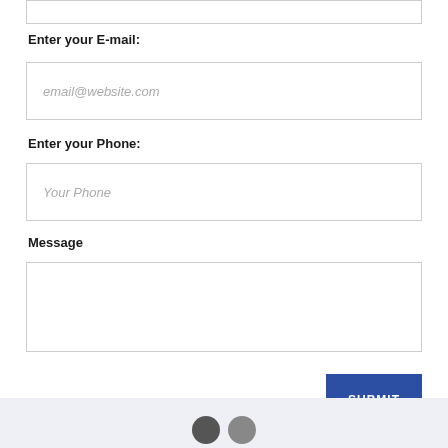Enter your E-mail:
[Figure (other): Email input field with placeholder text 'email@website.com']
Enter your Phone:
[Figure (other): Phone input field with placeholder text 'Your Phone']
Message
[Figure (other): Message textarea with placeholder text 'Enter your message']
[Figure (other): Submit button with blue background and white text 'SUBMIT']
Footer bar with social media icons